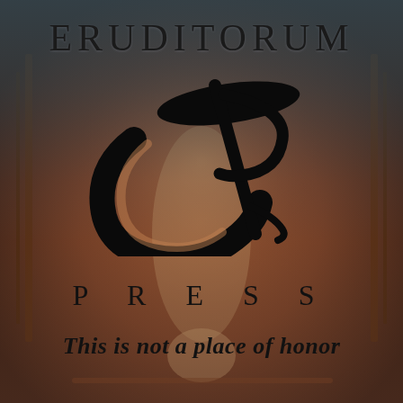[Figure (logo): Eruditorum Press logo page with background illustration of a figure with long hair, decorative framing elements, overlaid with semi-transparent dark gradient. Features the 'EP' stylized logo in black in the center.]
ERUDITORUM
PRESS
This is not a place of honor